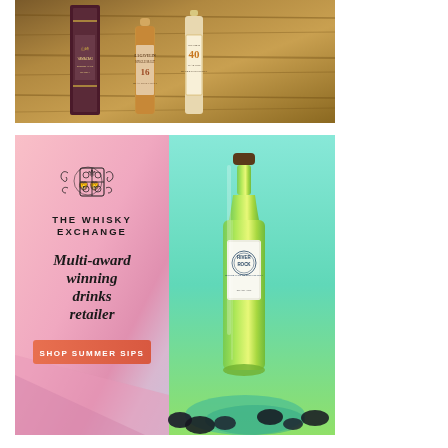[Figure (photo): Advertisement showing whisky bottles (Yamazaki, Lagavulin 16, and a 40-year Scotch) arranged on a wooden surface background]
[Figure (photo): The Whisky Exchange advertisement. Left side has pink/mauve gradient background with TWE crest logo, text 'THE WHISKY EXCHANGE', italic bold text 'Multi-award winning drinks retailer', and orange button 'SHOP SUMMER SIPS'. Right side has teal/green gradient background with River Rock Single Malt Scotch Whisky bottle.]